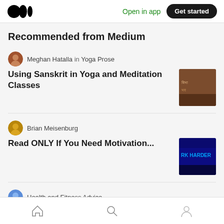Open in app | Get started
Recommended from Medium
Meghan Hatalla in Yoga Prose
Using Sanskrit in Yoga and Meditation Classes
Brian Meisenburg
Read ONLY If You Need Motivation...
Health and Fitness Advice
How to Lose Jiggly Arm Fat Fast — Tips, Advice, And More
Home | Search | Profile